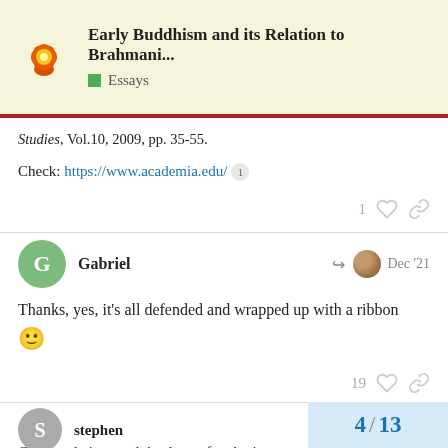Early Buddhism and its Relation to Brahmani... | Essays
Studies , Vol.10, 2009, pp. 35-55.
Check: https://www.academia.edu/
Gabriel Dec '21
Thanks, yes, it's all defended and wrapped up with a ribbon 🙂
stephen Dec '21
Congratulations and thank you for shari...
4 / 13